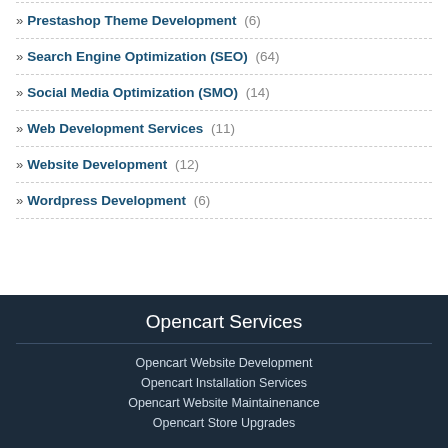» Prestashop Theme Development (6)
» Search Engine Optimization (SEO) (64)
» Social Media Optimization (SMO) (14)
» Web Development Services (11)
» Website Development (12)
» Wordpress Development (6)
Opencart Services
Opencart Website Development
Opencart Installation Services
Opencart Website Maintainenance
Opencart Store Upgrades